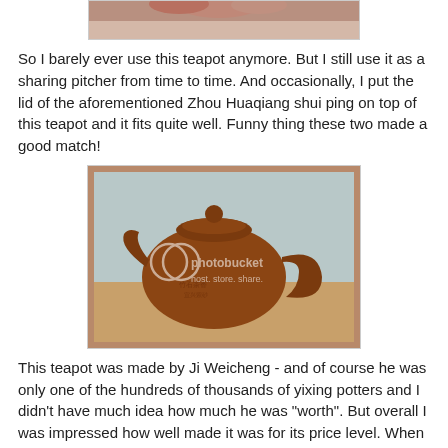[Figure (photo): Partial top image of a teapot or object, cropped at the top of the page]
So I barely ever use this teapot anymore. But I still use it as a sharing pitcher from time to time. And occasionally, I put the lid of the aforementioned Zhou Huaqiang shui ping on top of this teapot and it fits quite well. Funny thing these two made a good match!
[Figure (photo): Photo of a brown Yixing clay teapot on a wooden surface with Photobucket watermark overlay]
This teapot was made by Ji Weicheng - and of course he was only one of the hundreds of thousands of yixing potters and I didn't have much idea how much he was "worth". But overall I was impressed how well made it was for its price level. When I saw the name of Ji Weicheng earlier this year,